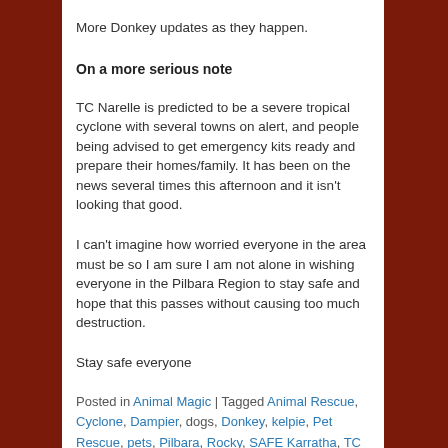More Donkey updates as they happen.
On a more serious note
TC Narelle is predicted to be a severe tropical cyclone with several towns on alert, and people being advised to get emergency kits ready and prepare their homes/family. It has been on the news several times this afternoon and it isn't looking that good.
I can't imagine how worried everyone in the area must be so I am sure I am not alone in wishing everyone in the Pilbara Region to stay safe and hope that this passes without causing too much destruction.
Stay safe everyone
Posted in Animal Magic | Tagged Animal Rescue, Cyclone, Dampier, dogs, Donkey, kelpie, Pet Rescue, pets, Pilbara, Rocky, SAFE Karratha, TC Narelle | 2 Replies